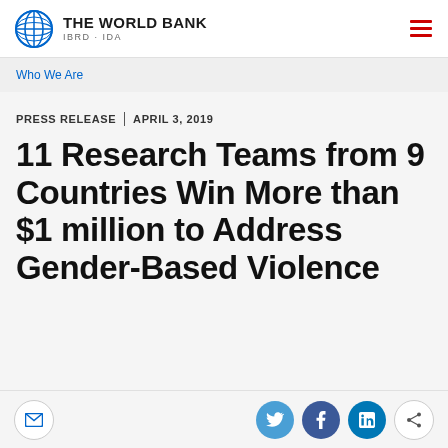THE WORLD BANK IBRD · IDA
Who We Are
PRESS RELEASE | APRIL 3, 2019
11 Research Teams from 9 Countries Win More than $1 million to Address Gender-Based Violence